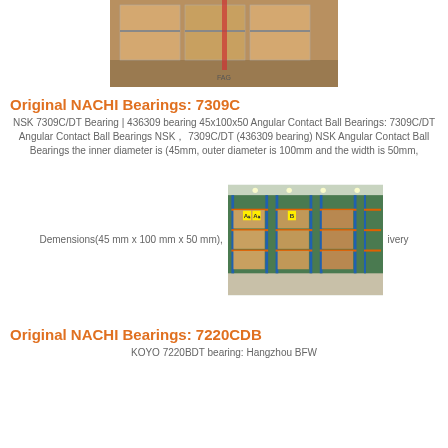[Figure (photo): Warehouse shelves stacked with boxes of bearings]
Original NACHI Bearings: 7309C
NSK 7309C/DT Bearing | 436309 bearing 45x100x50 Angular Contact Ball Bearings: 7309C/DT Angular Contact Ball Bearings NSK， 7309C/DT (436309 bearing) NSK Angular Contact Ball Bearings the inner diameter is (45mm, outer diameter is 100mm and the width is 50mm, Demensions(45 mm x 100 mm x 50 mm), ...livery
[Figure (photo): Large warehouse interior with tall blue and orange shelving racks stacked with boxes, yellow A labels visible]
Original NACHI Bearings: 7220CDB
KOYO 7220BDT bearing: Hangzhou BFW